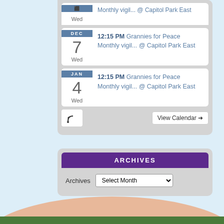Wed — Monthly Vigil @ Capitol Park East
DEC 7 Wed — 12:15 PM Grannies for Peace Monthly vigil... @ Capitol Park East
JAN 4 Wed — 12:15 PM Grannies for Peace Monthly vigil... @ Capitol Park East
View Calendar →
ARCHIVES
Archives Select Month